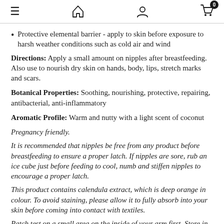Navigation icons: menu, home, account, cart (0)
Protective elemental barrier - apply to skin before exposure to harsh weather conditions such as cold air and wind
Directions: Apply a small amount on nipples after breastfeeding. Also use to nourish dry skin on hands, body, lips, stretch marks and scars.
Botanical Properties: Soothing, nourishing, protective, repairing, antibacterial, anti-inflammatory
Aromatic Profile: Warm and nutty with a light scent of coconut
Pregnancy friendly.
It is recommended that nipples be free from any product before breastfeeding to ensure a proper latch. If nipples are sore, rub an ice cube just before feeding to cool, numb and stiffen nipples to encourage a proper latch.
This product contains calendula extract, which is deep orange in colour. To avoid staining, please allow it to fully absorb into your skin before coming into contact with textiles.
Patch test on a small area on the inside of your arm first. Store in a cool, dry place away from direct sunlight.